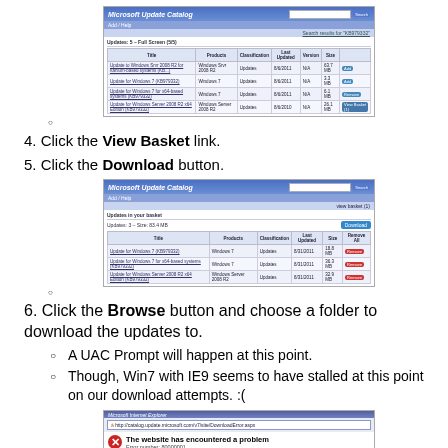[Figure (screenshot): Microsoft Update Catalog search results page showing a list of Windows updates with checkboxes and Add buttons]
4. Click the View Basket link.
5. Click the Download button.
[Figure (screenshot): Microsoft Update Catalog basket page showing selected updates with Remove buttons and a Download button]
6. Click the Browse button and choose a folder to download the updates to.
A UAC Prompt will happen at this point.
Though, Win7 with IE9 seems to have stalled at this point on our download attempts. :(
[Figure (screenshot): Internet Explorer error page showing 'The website has encountered a problem' with an error number 80000001]